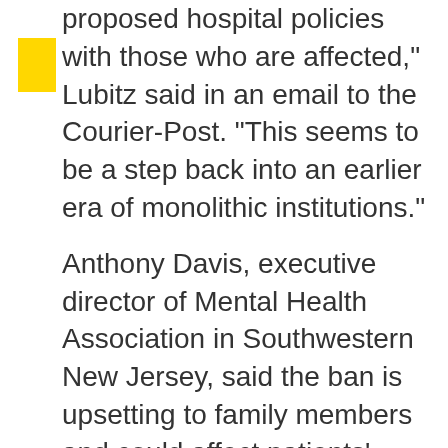proposed hospital policies with those who are affected," Lubitz said in an email to the Courier-Post. "This seems to be a step back into an earlier era of monolithic institutions."
Anthony Davis, executive director of Mental Health Association in Southwestern New Jersey, said the ban is upsetting to family members and could affect patients' treatment.
"It raises more questions and concerns than I think it resolves," Davis said. "I want to be fair. I'm sure there are legitimate concerns about the safety of staff and residents that these policies are designed to address. As they are